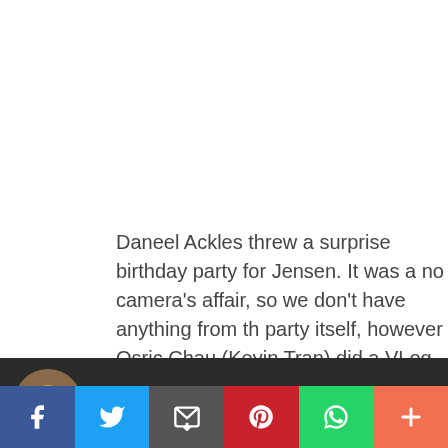Daneel Ackles threw a surprise birthday party for Jensen. It was a no camera's affair, so we don't have anything from th party itself, however Osric Chau (Kevin Tran) did a VLog on the event
[Figure (screenshot): Video thumbnail showing a dog avatar image and the title 'Jensen's surprise 40th bda...' on a dark background with a vertical ellipsis menu icon]
[Figure (infographic): Social share bar with six buttons: Facebook (blue), Twitter (light blue), Email (dark grey), Pinterest (red), WhatsApp (green), More (orange-red)]